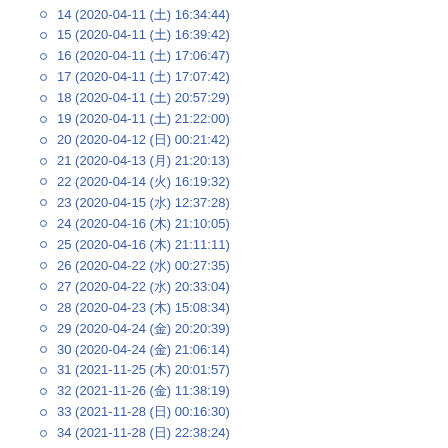14 (2020-04-11 (土) 16:34:44)
15 (2020-04-11 (土) 16:39:42)
16 (2020-04-11 (土) 17:06:47)
17 (2020-04-11 (土) 17:07:42)
18 (2020-04-11 (土) 20:57:29)
19 (2020-04-11 (土) 21:22:00)
20 (2020-04-12 (日) 00:21:42)
21 (2020-04-13 (月) 21:20:13)
22 (2020-04-14 (火) 16:19:32)
23 (2020-04-15 (水) 12:37:28)
24 (2020-04-16 (木) 21:10:05)
25 (2020-04-16 (木) 21:11:11)
26 (2020-04-22 (水) 00:27:35)
27 (2020-04-22 (水) 20:33:04)
28 (2020-04-23 (木) 15:08:34)
29 (2020-04-24 (金) 20:20:39)
30 (2020-04-24 (金) 21:06:14)
31 (2021-11-25 (木) 20:01:57)
32 (2021-11-26 (金) 11:38:19)
33 (2021-11-28 (日) 00:16:30)
34 (2021-11-28 (日) 22:38:24)
35 (2021-12-20 (月) 15:56:34)
管理者用ページ一覧 (blue link)
管理者用ページ一覧 (mixed link)
COLOR(RED):&size(30){※2020/4 月からのコロナ禍においての活動記録。 v7.84からの記録};